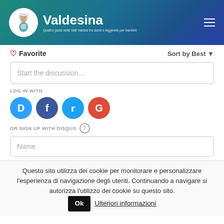Valdesina — Quattro passi nelle Valli Valdesi tra storie e leggende per bambini
♥ Favorite   Sort by Best ▼
Start the discussion…
LOG IN WITH
[Figure (screenshot): Social login icons: Disqus (blue), Facebook (dark blue), Twitter (light blue), Google (red)]
OR SIGN UP WITH DISQUS ?
Name
Questo sito utilizza dei cookie per monitorare e personalizzare l'esperienza di navigazione degli utenti. Continuando a navigare si autorizza l'utilizzo dei cookie su questo sito.  Ok  Ulteriori informazioni